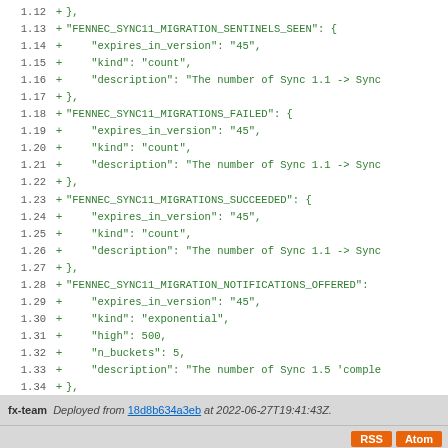[Figure (screenshot): Code diff view showing added lines (green, with + markers) of JSON configuration for FENNEC_SYNC11 metrics including FENNEC_SYNC11_MIGRATION_SENTINELS_SEEN, FENNEC_SYNC11_MIGRATIONS_FAILED, FENNEC_SYNC11_MIGRATIONS_SUCCEEDED, FENNEC_SYNC11_MIGRATION_NOTIFICATIONS_OFFERED, and FENNEC_SYNC11_MIGRATIONS_COMPLETED entries with expires_in_version, kind, description, high, n_buckets fields. Line numbers 1.12 through 1.40 shown.]
fx-team   Deployed from 18d8b634a3eb at 2022-06-27T19:41:43Z.   RSS  Atom